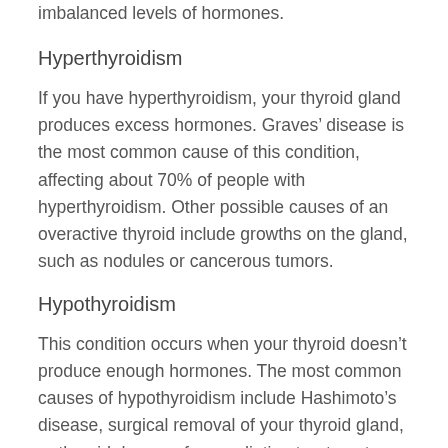imbalanced levels of hormones.
Hyperthyroidism
If you have hyperthyroidism, your thyroid gland produces excess hormones. Graves’ disease is the most common cause of this condition, affecting about 70% of people with hyperthyroidism. Other possible causes of an overactive thyroid include growths on the gland, such as nodules or cancerous tumors.
Hypothyroidism
This condition occurs when your thyroid doesn’t produce enough hormones. The most common causes of hypothyroidism include Hashimoto’s disease, surgical removal of your thyroid gland, or thyroid damage from radiation treatment.